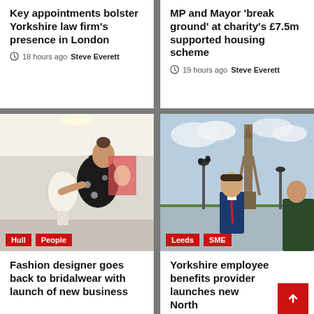Key appointments bolster Yorkshire law firm's presence in London
18 hours ago  Steve Everett
MP and Mayor 'break ground' at charity's £7.5m supported housing scheme
19 hours ago  Steve Everett
[Figure (photo): Woman in black floral dress working on a dress mannequin in a studio, with Hull and People tags]
Fashion designer goes back to bridalwear with launch of new business
[Figure (photo): Man in blue suit with red tie standing in front of Blackpool Tower by the sea, with Leeds and SME tags]
Yorkshire employee benefits provider launches new North